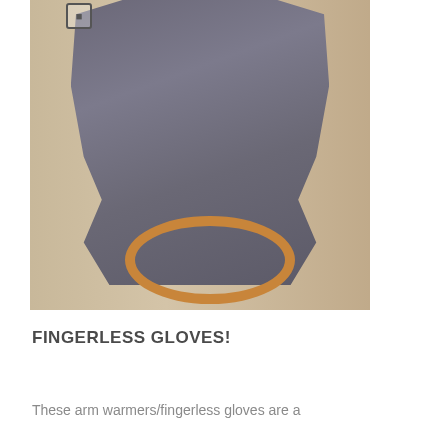[Figure (photo): A gray knit poncho/shawl displayed on a person, with a wooden chair visible in the foreground/background. The poncho has ribbed edges at the bottom and sides. The background shows a beige/cream wall.]
FINGERLESS GLOVES!
These arm warmers/fingerless gloves are a